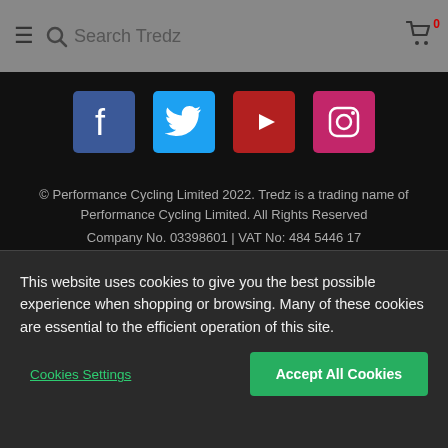Search Tredz
[Figure (logo): Social media icons row: Facebook, Twitter, YouTube, Instagram]
© Performance Cycling Limited 2022. Tredz is a trading name of Performance Cycling Limited. All Rights Reserved
Company No. 03398601 | VAT No: 484 5446 17
† IMPORTANT INFORMATION: Tredz & Tredz Bikes are trading names for Performance Cycling Limited. Performance Cycling Limited trading as Tredz acts as a credit broker and offers credit products from Clydesdale Financial Services Limited trading as Barclays Partner Finance and PayPal (Europe) trading as PayPal Credit. Performance
This website uses cookies to give you the best possible experience when shopping or browsing. Many of these cookies are essential to the efficient operation of this site.
Cookies Settings
Accept All Cookies